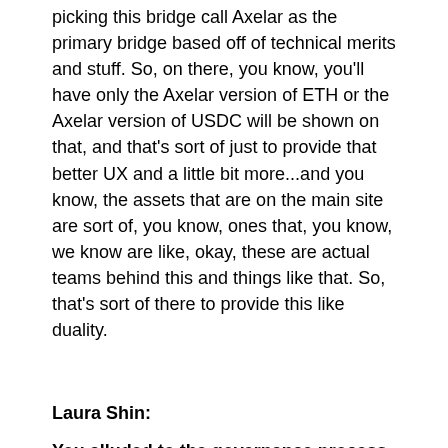picking this bridge call Axelar as the primary bridge based off of technical merits and stuff. So, on there, you know, you'll have only the Axelar version of ETH or the Axelar version of USDC will be shown on that, and that's sort of just to provide that better UX and a little bit more...and you know, the assets that are on the main site are sort of, you know, ones that, you know, we know are like, okay, these are actual teams behind this and things like that. So, that's sort of there to provide this like duality.
Laura Shin:
You alluded to the governance process on Osmosis. Can you describe how that works?
Sunny Aggarwal: